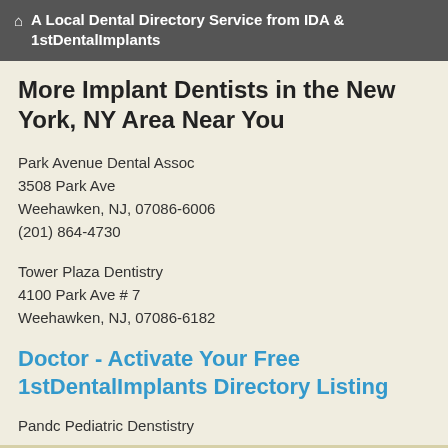A Local Dental Directory Service from IDA & 1stDentalImplants
More Implant Dentists in the New York, NY Area Near You
Park Avenue Dental Assoc
3508 Park Ave
Weehawken, NJ, 07086-6006
(201) 864-4730
Tower Plaza Dentistry
4100 Park Ave # 7
Weehawken, NJ, 07086-6182
Doctor - Activate Your Free 1stDentalImplants Directory Listing
Pandc Pediatric Denstistry
550 Gregory Ave #B 5
Weehawken, NJ, 7086
(973) 928-3880
Morin, Jay D.D.S.